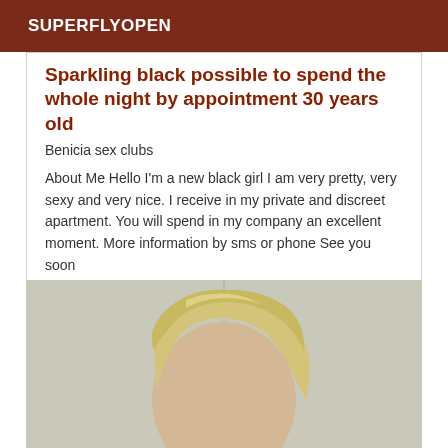SUPERFLYOPEN
Sparkling black possible to spend the whole night by appointment 30 years old
Benicia sex clubs
About Me Hello I'm a new black girl I am very pretty, very sexy and very nice. I receive in my private and discreet apartment. You will spend in my company an excellent moment. More information by sms or phone See you soon
[Figure (photo): Partial photo of a person with light blonde hair, cropped to show top of head]